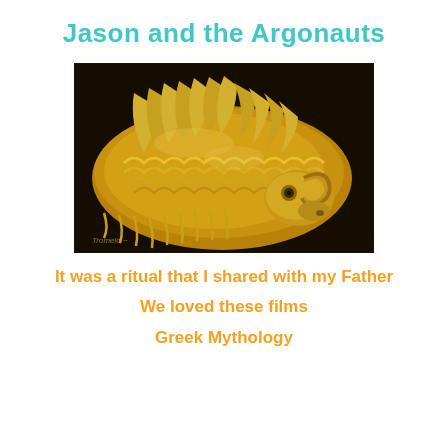Jason and the Argonauts
[Figure (photo): A painting of the golden fleece — a golden ram's fur/fleece rendered in shimmering gold tones against a dark background, with wing-like feather formations visible.]
It was a ritual that I shared with my Father
We loved these films
Greek Mythology